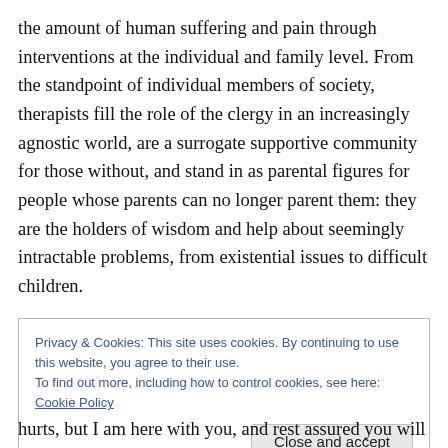the amount of human suffering and pain through interventions at the individual and family level. From the standpoint of individual members of society, therapists fill the role of the clergy in an increasingly agnostic world, are a surrogate supportive community for those without, and stand in as parental figures for people whose parents can no longer parent them: they are the holders of wisdom and help about seemingly intractable problems, from existential issues to difficult children.
Humans inevitably experience pain and suffering in their
Privacy & Cookies: This site uses cookies. By continuing to use this website, you agree to their use.
To find out more, including how to control cookies, see here: Cookie Policy
Close and accept
hurts, but I am here with you, and rest assured you will